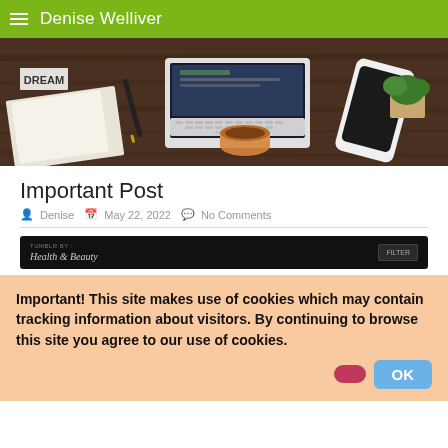Denise Welliver
[Figure (photo): Hero banner image showing a wooden desk with a laptop, coffee cup, smartphone, DREAM letter tiles, and a small plant.]
Important Post
Denise  May 22, 2022  No Comments
[Figure (screenshot): Tumblr embedded post block with dark background showing 'TUMBLR BY:' label, 'Health & Beauty' text in italic, and a 'FILTER' button on the right.]
Important! This site makes use of cookies which may contain tracking information about visitors. By continuing to browse this site you agree to our use of cookies.